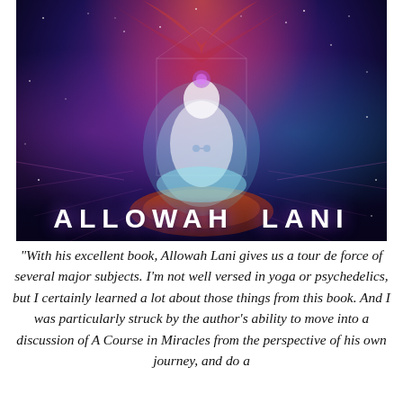[Figure (illustration): Psychedelic/spiritual illustration of a glowing meditating figure in lotus position, surrounded by cosmic colors of purple, red, teal, and pink with nebula-like background. The name ALLOWAH LANI appears in large white bold letters at the bottom of the image.]
“With his excellent book, Allowah Lani gives us a tour de force of several major subjects. I’m not well versed in yoga or psychedelics, but I certainly learned a lot about those things from this book. And I was particularly struck by the author’s ability to move into a discussion of A Course in Miracles from the perspective of his own journey, and do a